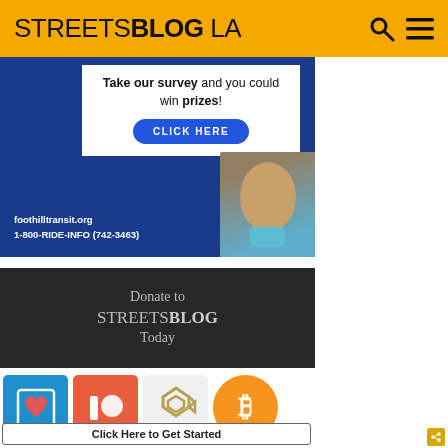STREETSBLOG LA
[Figure (infographic): Foothill Transit advertisement: Take our survey and you could win prizes! CLICK HERE. foothilltransit.org 1-800-RIDE-INFO (742-3463)]
[Figure (infographic): Donate to STREETSBLOG Today banner (dark background)]
[Figure (infographic): Payment/donation icons row: blue heart/save icon, red Patreon icon, gold Steem/crypto icon, orange Bitcoin icon]
Click Here to Get Started